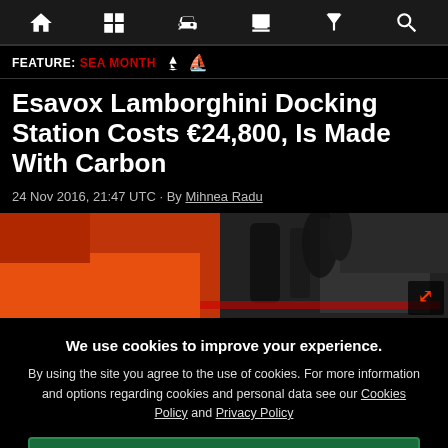Navigation bar with icons: home, grid, car, newspaper, filter, search
FEATURE: SEA MONTH 🚢
Esavox Lamborghini Docking Station Costs €24,800, Is Made With Carbon
24 Nov 2016, 21:47 UTC · By Mihnea Radu
[Figure (photo): Close-up photo of orange and black Lamborghini docking station with carbon fiber elements]
We use cookies to improve your experience. By using the site you agree to the use of cookies. For more information and options regarding cookies and personal data see our Cookies Policy and Privacy Policy
Accept cookies & close
California residents: Do Not Sell My Info